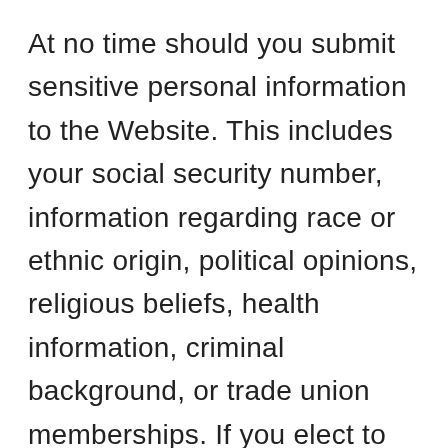At no time should you submit sensitive personal information to the Website. This includes your social security number, information regarding race or ethnic origin, political opinions, religious beliefs, health information, criminal background, or trade union memberships. If you elect to submit such information to us, it will be subject to this Privacy Policy.